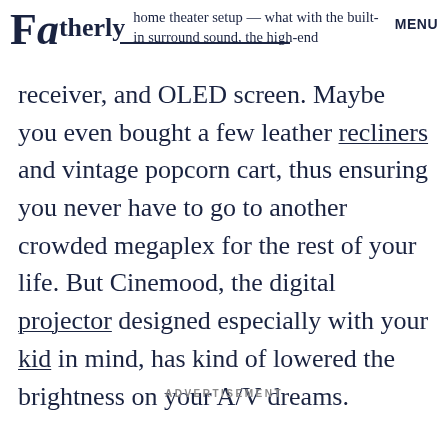Fatherly | home theater setup — what with the built-in surround sound, the high-end | MENU
receiver, and OLED screen. Maybe you even bought a few leather recliners and vintage popcorn cart, thus ensuring you never have to go to another crowded megaplex for the rest of your life. But Cinemood, the digital projector designed especially with your kid in mind, has kind of lowered the brightness on your A/V dreams.
ADVERTISEMENT